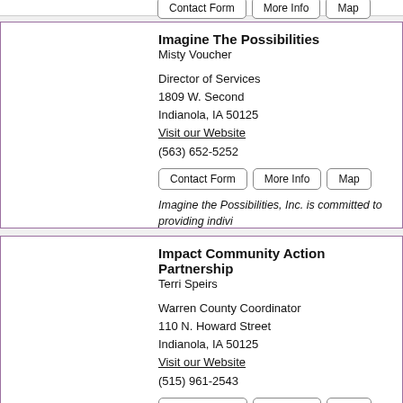Imagine The Possibilities
Misty Voucher
Director of Services
1809 W. Second
Indianola, IA 50125
Visit our Website
(563) 652-5252
Imagine the Possibilities, Inc. is committed to providing individuals with a disability to enhance each person's quality of life through Indi...
Our Mission is: To empower people to reach individual achiev...
Impact Community Action Partnership
Terri Speirs
Warren County Coordinator
110 N. Howard Street
Indianola, IA 50125
Visit our Website
(515) 961-2543